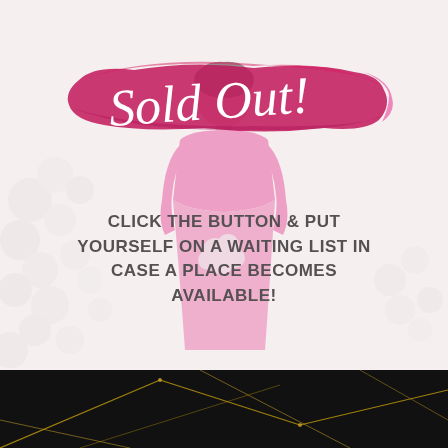[Figure (illustration): A woman in a bright pink dress holding white flowers, with a faded/washed-out overlay on a light pinkish-white background. White flowers visible on the left side.]
[Figure (illustration): A pink brushstroke banner with italic script text reading 'Sold Out!' in white cursive font on a magenta/hot-pink painted brush stroke background.]
CLICK THE BUTTON & PUT YOURSELF ON A WAITING LIST IN CASE A PLACE BECOMES AVAILABLE!
[Figure (illustration): Black background section at the bottom with gold geometric angular line pattern creating a faceted/diamond-like design.]